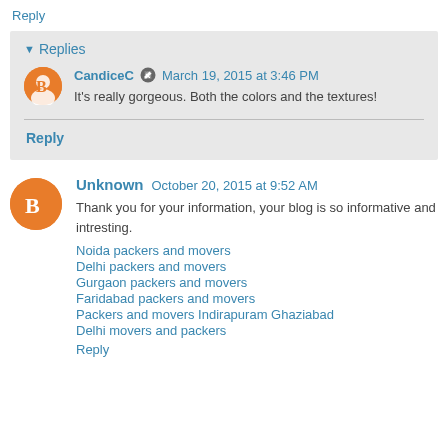Reply
▼ Replies
CandiceC  March 19, 2015 at 3:46 PM
It's really gorgeous. Both the colors and the textures!
Reply
Unknown  October 20, 2015 at 9:52 AM
Thank you for your information, your blog is so informative and intresting.
Noida packers and movers
Delhi packers and movers
Gurgaon packers and movers
Faridabad packers and movers
Packers and movers Indirapuram Ghaziabad
Delhi movers and packers
Reply